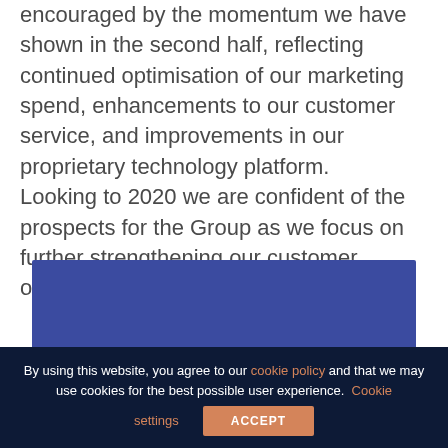encouraged by the momentum we have shown in the second half, reflecting continued optimisation of our marketing spend, enhancements to our customer service, and improvements in our proprietary technology platform. Looking to 2020 we are confident of the prospects for the Group as we focus on further strengthening our customer offering and market positions.”
[Figure (illustration): Blue rectangle section with a white plus/cross icon visible at the bottom center, partially cut off]
By using this website, you agree to our cookie policy and that we may use cookies for the best possible user experience. Cookie settings ACCEPT